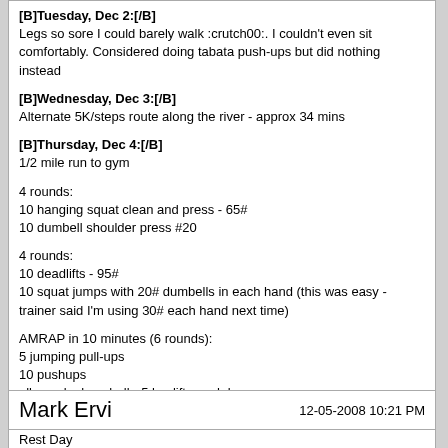[B]Tuesday, Dec 2:[/B]
Legs so sore I could barely walk :crutch00:. I couldn't even sit comfortably. Considered doing tabata push-ups but did nothing instead
[B]Wednesday, Dec 3:[/B]
Alternate 5K/steps route along the river - approx 34 mins
[B]Thursday, Dec 4:[/B]
1/2 mile run to gym

4 rounds:
10 hanging squat clean and press - 65#
10 dumbell shoulder press #20

4 rounds:
10 deadlifts - 95#
10 squat jumps with 20# dumbells in each hand (this was easy - trainer said I'm using 30# each hand next time)

AMRAP in 10 minutes (6 rounds):
5 jumping pull-ups
10 pushups
elbow plank on ball - 5 leg lifts each leg
[B]Today:[/B]
Rest Day
Mark Ervi
12-05-2008 10:21 PM